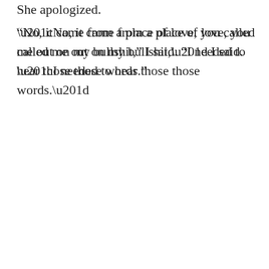She apologized.
“No, it came from a place of love, you called me out on my bullshit,” I said. “I needed to hear those those words.”
She signed. “It still sounded harsh. But yeah...I could use a Deborah in my life now.”
I nodded. “Everyone needs a Deborah.”
I confessed I thought I was too clingy when we were roommates, constantly chatting with her at all hours about the boys I got myself tangled up with.